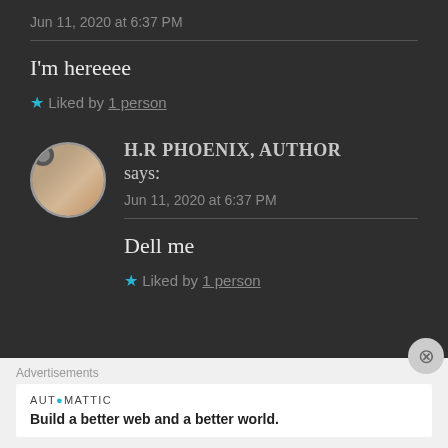Jun 11, 2020 at 6:37 PM
I'm hereeee
★ Liked by 1 person
H.R PHOENIX, AUTHOR says:
Jun 11, 2020 at 6:37 PM
Dell me
★ Liked by 1 person
Advertisements
AUTOMATTIC
Build a better web and a better world.